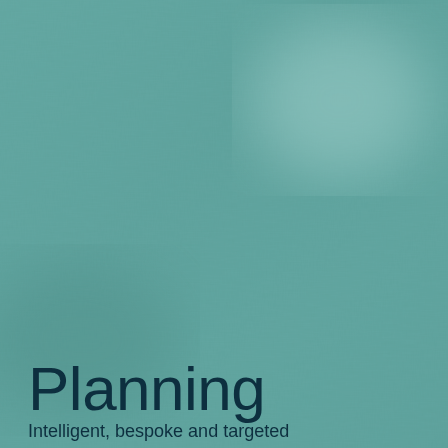[Figure (illustration): Teal/sage green textured background resembling crumpled or fibrous paper with mottled light and dark areas creating a natural, organic pattern.]
Planning
Intelligent, bespoke and targeted